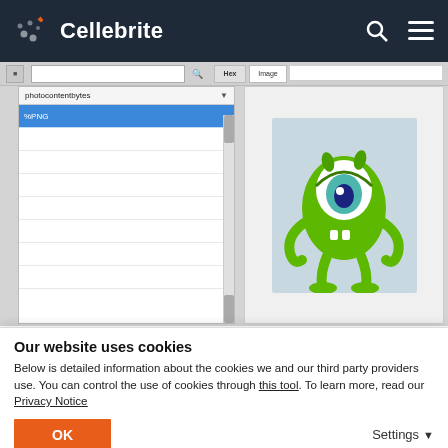Cellebrite
[Figure (screenshot): Cellebrite software UI showing a left panel with 'photocontentbytes' dropdown and a selected 'PNG' row (highlighted blue), and a right panel with Hex/Image tabs showing a 3D green cartoon character (Mike Wazowski from Monsters Inc.) rendered as the image stored in the database.]
Figure 5. A PNG image stored inside a database can now be viewed directly in the right pane.
Our website uses cookies
Below is detailed information about the cookies we and our third party providers use. You can control the use of cookies through this tool. To learn more, read our Privacy Notice